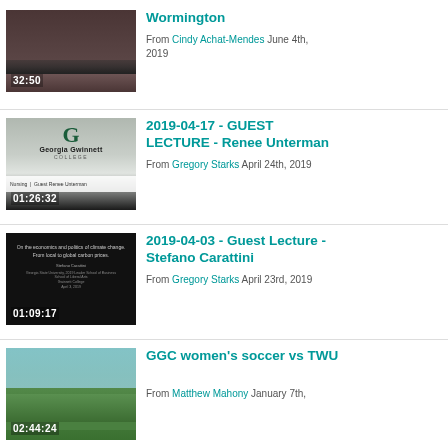[Figure (screenshot): Thumbnail of audience in auditorium, duration 32:50]
Wormington
From Cindy Achat-Mendes June 4th, 2019
[Figure (screenshot): Thumbnail of Georgia Gwinnett College slide with logo, duration 01:26:32]
2019-04-17 - GUEST LECTURE - Renee Unterman
From Gregory Starks April 24th, 2019
[Figure (screenshot): Thumbnail of slide about economics and politics of climate change, duration 01:09:17]
2019-04-03 - Guest Lecture - Stefano Carattini
From Gregory Starks April 23rd, 2019
[Figure (screenshot): Thumbnail of soccer field, duration 02:44:24]
GGC women's soccer vs TWU
From Matthew Mahony January 7th,